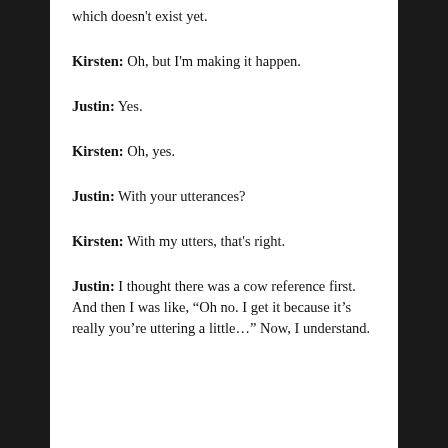which doesn't exist yet.
Kirsten: Oh, but I'm making it happen.
Justin: Yes.
Kirsten: Oh, yes.
Justin: With your utterances?
Kirsten: With my utters, that's right.
Justin: I thought there was a cow reference first. And then I was like, “Oh no. I get it because it’s really you’re uttering a little…” Now, I understand.